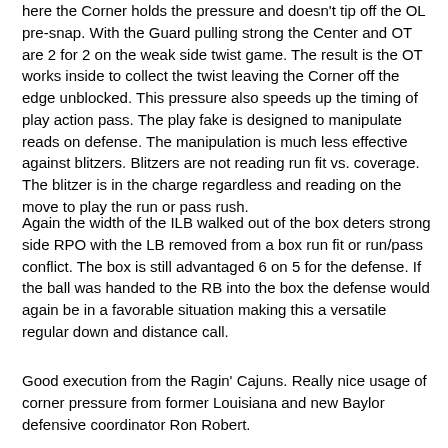here the Corner holds the pressure and doesn't tip off the OL pre-snap. With the Guard pulling strong the Center and OT are 2 for 2 on the weak side twist game. The result is the OT works inside to collect the twist leaving the Corner off the edge unblocked. This pressure also speeds up the timing of play action pass. The play fake is designed to manipulate reads on defense. The manipulation is much less effective against blitzers. Blitzers are not reading run fit vs. coverage. The blitzer is in the charge regardless and reading on the move to play the run or pass rush.
Again the width of the ILB walked out of the box deters strong side RPO with the LB removed from a box run fit or run/pass conflict. The box is still advantaged 6 on 5 for the defense. If the ball was handed to the RB into the box the defense would again be in a favorable situation making this a versatile regular down and distance call.
Good execution from the Ragin' Cajuns. Really nice usage of corner pressure from former Louisiana and new Baylor defensive coordinator Ron Robert.